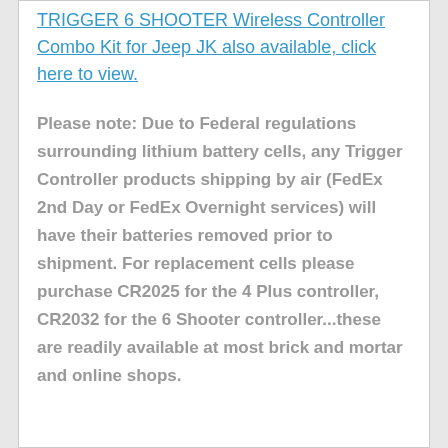TRIGGER 6 SHOOTER Wireless Controller Combo Kit for Jeep JK also available, click here to view.
Please note: Due to Federal regulations surrounding lithium battery cells, any Trigger Controller products shipping by air (FedEx 2nd Day or FedEx Overnight services) will have their batteries removed prior to shipment. For replacement cells please purchase CR2025 for the 4 Plus controller, CR2032 for the 6 Shooter controller...these are readily available at most brick and mortar and online shops.